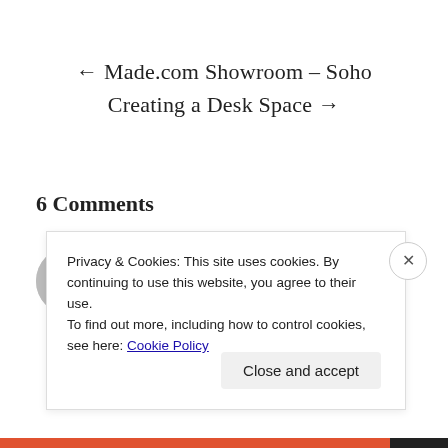← Made.com Showroom – Soho
Creating a Desk Space →
6 Comments
[Figure (photo): Circular avatar photo of a person, partially visible]
Privacy & Cookies: This site uses cookies. By continuing to use this website, you agree to their use.
To find out more, including how to control cookies, see here: Cookie Policy